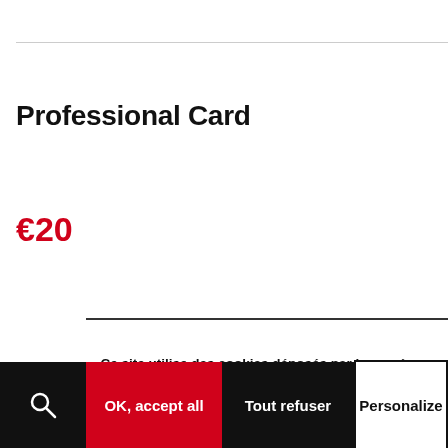Professional Card
€20
Ce site utilise des cookies déposés par le musée ou par des tiers afin d'améliorer votre expérience de navigation et d'établir des statistiques d'utilisation. À l'exception des cookies nécessaires au bon fonctionnement du site, vous pouvez tous les accepter, tous les refuser ou en personnaliser le dépôt.
OK, accept all
Tout refuser
Personalize